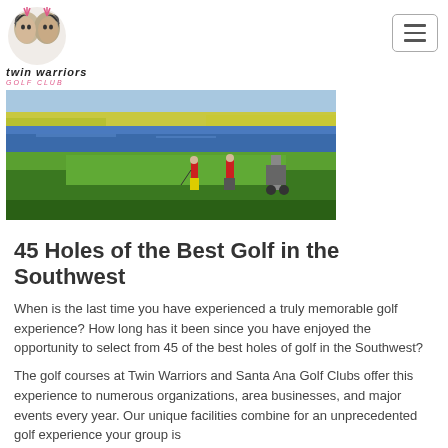Twin Warriors Golf Club
[Figure (photo): Golf course photo showing two golfers on a lush green fairway with a blue water hazard and yellow-green vegetation in the background.]
45 Holes of the Best Golf in the Southwest
When is the last time you have experienced a truly memorable golf experience? How long has it been since you have enjoyed the opportunity to select from 45 of the best holes of golf in the Southwest?
The golf courses at Twin Warriors and Santa Ana Golf Clubs offer this experience to numerous organizations, area businesses, and major events every year. Our unique facilities combine for an unprecedented golf experience your group is